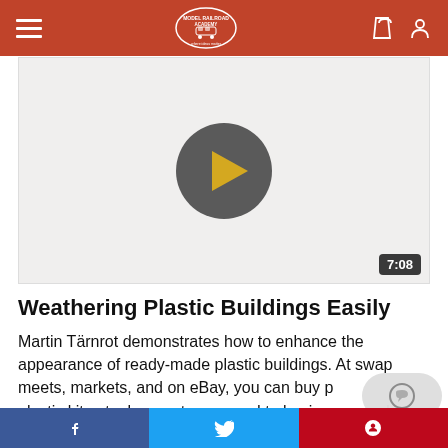Model Railroad Academy
[Figure (screenshot): Video player showing a paused video with a play button icon in the center and a duration badge showing 7:08 in the bottom right corner]
Weathering Plastic Buildings Easily
Martin Tärnrot demonstrates how to enhance the appearance of ready-made plastic buildings. At swap meets, markets, and on eBay, you can buy pre-made plastic kits at a low cost compared to buying kits and building them yourself. But many of these have
f  Twitter  P